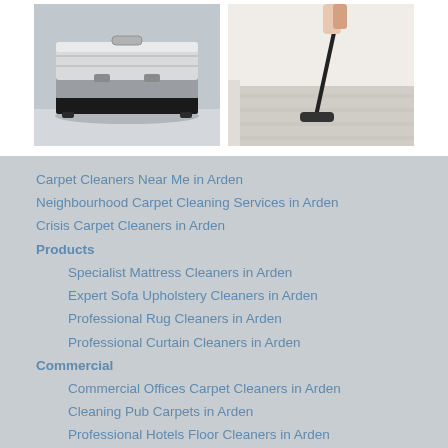[Figure (photo): Silver metallic equipment case/box on a light floor surface]
[Figure (photo): Person using a vacuum cleaner on a light beige carpet]
Carpet Cleaners Near Me in Arden
Neighbourhood Carpet Cleaning Services in Arden
Crisis Carpet Cleaners in Arden
Products
Specialist Mattress Cleaners in Arden
Expert Sofa Upholstery Cleaners in Arden
Professional Rug Cleaners in Arden
Professional Curtain Cleaners in Arden
Commercial
Commercial Offices Carpet Cleaners in Arden
Cleaning Pub Carpets in Arden
Professional Hotels Floor Cleaners in Arden
Commercial Restaurants Flooring Cleaners in Arden
Schools Indoor Floor Cleaning in Arden
Domestic in Arden
Rented House Carpets Cleaner in Arden